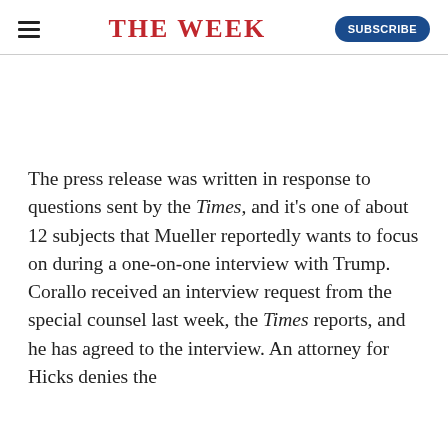THE WEEK
The press release was written in response to questions sent by the Times, and it's one of about 12 subjects that Mueller reportedly wants to focus on during a one-on-one interview with Trump. Corallo received an interview request from the special counsel last week, the Times reports, and he has agreed to the interview. An attorney for Hicks denies the